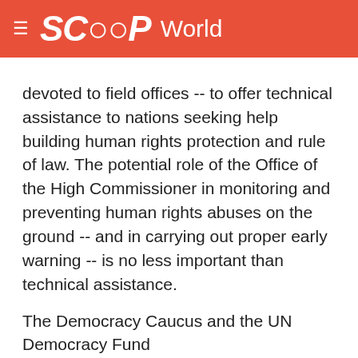SCOOP World
devoted to field offices -- to offer technical assistance to nations seeking help building human rights protection and rule of law. The potential role of the Office of the High Commissioner in monitoring and preventing human rights abuses on the ground -- and in carrying out proper early warning -- is no less important than technical assistance.
The Democracy Caucus and the UN Democracy Fund
In another UN institution devoted to furthering liberties, the United States has been successful in creating a new UN Democracy Fund, which was envisioned by President Bush at last year's General